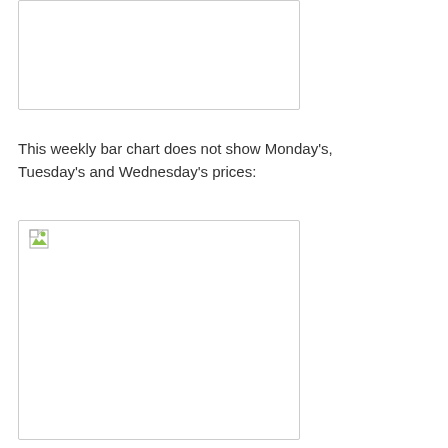[Figure (other): Empty/broken image placeholder — weekly bar chart (top, partially visible)]
This weekly bar chart does not show Monday's, Tuesday's and Wednesday's prices:
[Figure (other): Empty/broken image placeholder — weekly bar chart without Monday's, Tuesday's and Wednesday's prices]